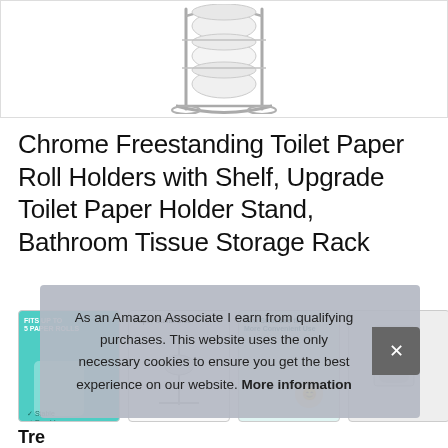[Figure (photo): Chrome freestanding toilet paper roll holder with shelf, product photo on white background, partially cropped showing top portion]
Chrome Freestanding Toilet Paper Roll Holders with Shelf, Upgrade Toilet Paper Holder Stand, Bathroom Tissue Storage Rack
[Figure (photo): Row of four product thumbnail images: teal/blue lifestyle image, white paper stand size diagram, new structure convenience lifestyle image, and partially visible fourth image]
As an Amazon Associate I earn from qualifying purchases. This website uses the only necessary cookies to ensure you get the best experience on our website. More information
Tre